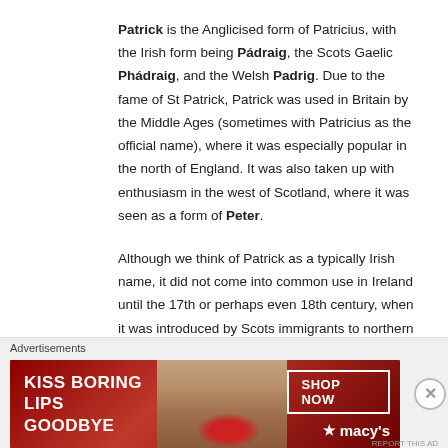Patrick is the Anglicised form of Patricius, with the Irish form being Pádraig, the Scots Gaelic Phádraig, and the Welsh Padrig. Due to the fame of St Patrick, Patrick was used in Britain by the Middle Ages (sometimes with Patricius as the official name), where it was especially popular in the north of England. It was also taken up with enthusiasm in the west of Scotland, where it was seen as a form of Peter.
Although we think of Patrick as a typically Irish name, it did not come into common use in Ireland until the 17th or perhaps even 18th century, when it was introduced by Scots immigrants to northern Ireland. Before this, the Irish felt that the name of their
[Figure (other): Macy's advertisement banner: 'KISS BORING LIPS GOODBYE' with a woman's face showing red lips, and a 'SHOP NOW' button with the Macy's star logo]